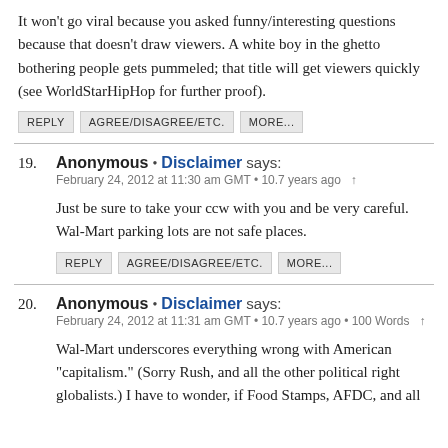It won't go viral because you asked funny/interesting questions because that doesn't draw viewers. A white boy in the ghetto bothering people gets pummeled; that title will get viewers quickly (see WorldStarHipHop for further proof).
REPLY | AGREE/DISAGREE/ETC. | MORE...
19. Anonymous • Disclaimer says: February 24, 2012 at 11:30 am GMT • 10.7 years ago ↑
Just be sure to take your ccw with you and be very careful. Wal-Mart parking lots are not safe places.
REPLY | AGREE/DISAGREE/ETC. | MORE...
20. Anonymous • Disclaimer says: February 24, 2012 at 11:31 am GMT • 10.7 years ago • 100 Words ↑
Wal-Mart underscores everything wrong with American "capitalism." (Sorry Rush, and all the other political right globalists.) I have to wonder, if Food Stamps, AFDC, and all